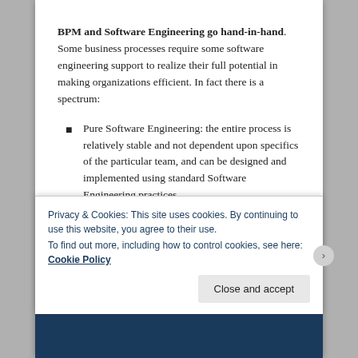BPM and Software Engineering go hand-in-hand. Some business processes require some software engineering support to realize their full potential in making organizations efficient. In fact there is a spectrum:
Pure Software Engineering: the entire process is relatively stable and not dependent upon specifics of the particular team, and can be designed and implemented using standard Software Engineering practices.
Privacy & Cookies: This site uses cookies. By continuing to use this website, you agree to their use.
To find out more, including how to control cookies, see here: Cookie Policy